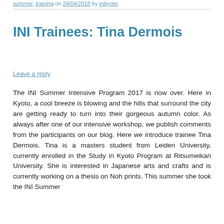summer, training on 24/04/2018 by inikyoto.
INI Trainees: Tina Dermois
Leave a reply
The INI Summer Intensive Program 2017 is now over. Here in Kyoto, a cool breeze is blowing and the hills that surround the city are getting ready to turn into their gorgeous autumn color. As always after one of our intensive workshop, we publish comments from the participants on our blog. Here we introduce trainee Tina Dermois. Tina is a masters student from Leiden University, currently enrolled in the Study in Kyoto Program at Ritsumeikan University. She is interested in Japanese arts and crafts and is currently working on a thesis on Noh prints. This summer she took the INI Summer